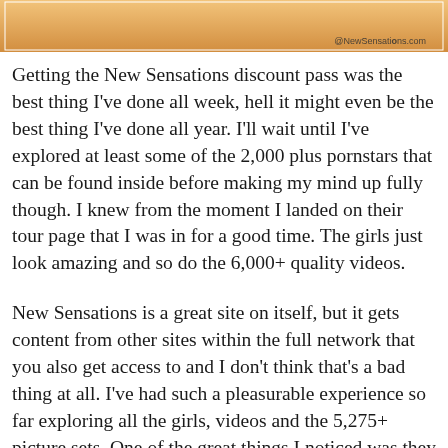[Figure (photo): Partial image at top of page with watermark '@NewSensations.com' in bottom right corner]
Getting the New Sensations discount pass was the best thing I've done all week, hell it might even be the best thing I've done all year. I'll wait until I've explored at least some of the 2,000 plus pornstars that can be found inside before making my mind up fully though. I knew from the moment I landed on their tour page that I was in for a good time. The girls just look amazing and so do the 6,000+ quality videos.
New Sensations is a great site on itself, but it gets content from other sites within the full network that you also get access to and I don't think that's a bad thing at all. I've had such a pleasurable experience so far exploring all the girls, videos and the 5,275+ picture sets. One of the great things I noticed was they don't try to limit your downloads like other so